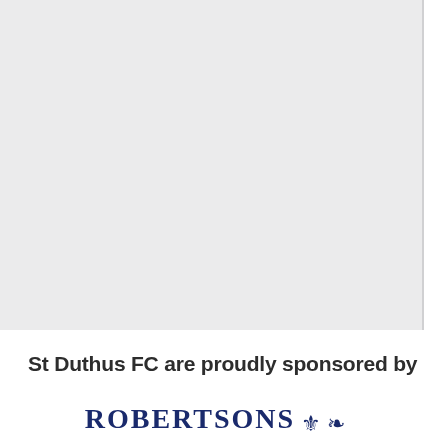[Figure (other): Large light gray rectangular area occupying the upper portion of the page, with a thin vertical line/border on the right side]
St Duthus FC are proudly sponsored by
[Figure (logo): ROBERTSONS logo in dark navy blue serif font with decorative icons]